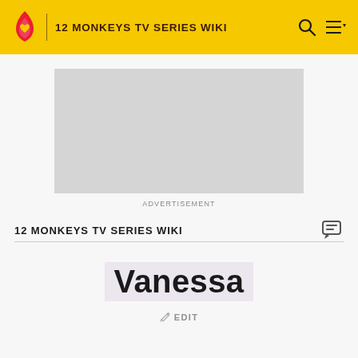12 MONKEYS TV SERIES WIKI
[Figure (other): Advertisement placeholder rectangle (gray)]
ADVERTISEMENT
12 MONKEYS TV SERIES WIKI
Vanessa
EDIT